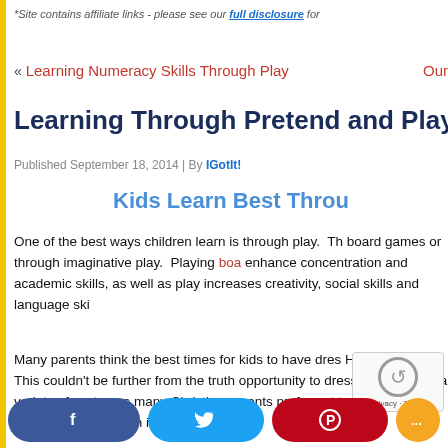*Site contains affiliate links - please see our full disclosure for
« Learning Numeracy Skills Through Play   Our
Learning Through Pretend and Play
Published September 18, 2014 | By IGotIt!
Kids Learn Best Throu
One of the best ways children learn is through play.  Th board games or through imaginative play.  Playing boa enhance concentration and academic skills, as well as play increases creativity, social skills and language ski
Many parents think the best times for kids to have dres Halloween time.  This couldn't be further from the truth opportunity to dress-up and have a variety of costumes many Christian parents prefer not to engage i that costumes still play an important aspect in